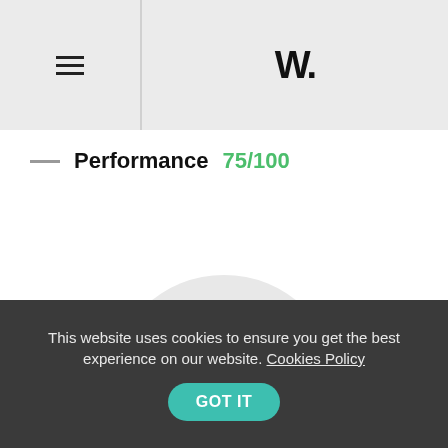W.
Performance  75/100
[Figure (other): A large light grey semicircle/gauge shape representing a performance dial, shown partially, with no needle or labels visible — the upper portion is cut off.]
etiennepharabot.fr
This website uses cookies to ensure you get the best experience on our website. Cookies Policy  GOT IT